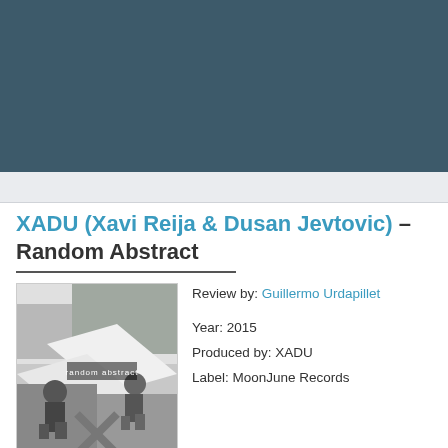[Figure (other): Dark teal/slate header banner background]
XADU (Xavi Reija & Dusan Jevtovic) – Random Abstract
[Figure (photo): Black and white album cover for 'random abstract' showing two men seated outdoors with geometric shapes]
Review by: Guillermo Urdapillet
Year: 2015
Produced by: XADU
Label: MoonJune Records